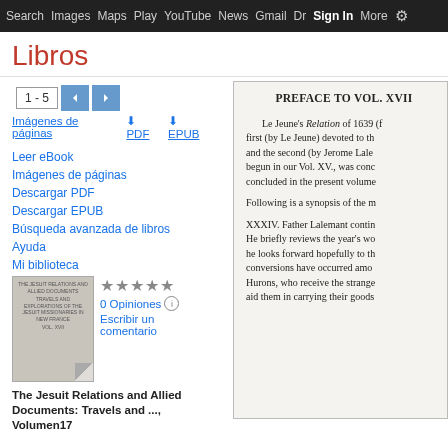Search  Images  Maps  Play  YouTube  News  Gmail  Dr  Sign In  More  ⚙
Libros
Leer eBook
Imágenes de páginas
Descargar PDF
Descargar EPUB
Búsqueda avanzada de libros
Ayuda
Mi biblioteca
0 Opiniones
Escribir un comentario
The Jesuit Relations and Allied Documents: Travels and ..., Volumen17
1 - 5
Imágenes de páginas   PDF   EPUB
[Figure (screenshot): Book page preview showing 'PREFACE TO VOL. XVII' with text about Le Jeune's Relation of 1639, Father Lalemant, Hurons, and missionary accounts.]
PREFACE TO VOL. XVII

Le Jeune's Relation of 1639 (first (by Le Jeune) devoted to the and the second (by Jerome Laler begun in our Vol. XV., was conc concluded in the present volume.

Following is a synopsis of the m

XXXIV. Father Lalemant contin He briefly reviews the year's wo he looks forward hopefully to the conversions have occurred amo Hurons, who receive the strange aid them in carrying their goods